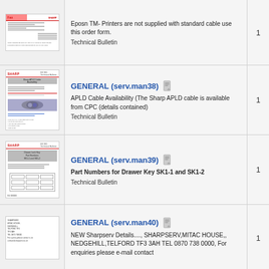[Figure (illustration): Thumbnail of a Sharp technical bulletin document with logo and form fields]
Eposn TM- Printers are not supplied with standard cable use this order form.
Technical Bulletin
[Figure (illustration): Thumbnail of Sharp APLD Cable technical bulletin with image of cable]
GENERAL (serv.man38)
APLD Cable Availability (The Sharp APLD cable is available from CPC (details contained)
Technical Bulletin
[Figure (illustration): Thumbnail of Sharp technical bulletin about Drawer Key Part Numbers]
GENERAL (serv.man39)
Part Numbers for Drawer Key SK1-1 and SK1-2
Technical Bulletin
[Figure (illustration): Thumbnail of Sharp technical bulletin about Sharpserv details]
GENERAL (serv.man40)
NEW Sharpserv Details...., SHARPSERV,MITAC HOUSE,, NEDGEHILL,TELFORD TF3 3AH TEL 0870 738 0000, For enquiries please e-mail contact